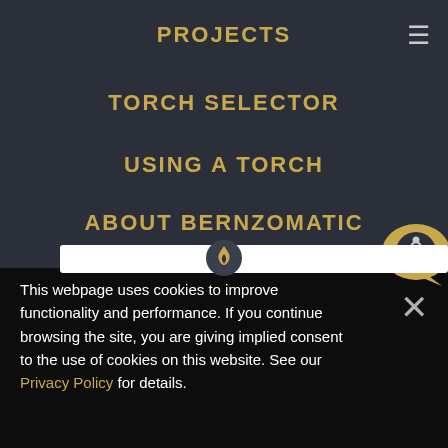PROJECTS
TORCH SELECTOR
USING A TORCH
ABOUT BERNZOMATIC
[Figure (illustration): Share button bubble icon with share symbol, and partial Bernzomatic logo with flame icon on white bar]
This webpage uses cookies to improve functionality and performance. If you continue browsing the site, you are giving implied consent to the use of cookies on this website. See our Privacy Policy for details.